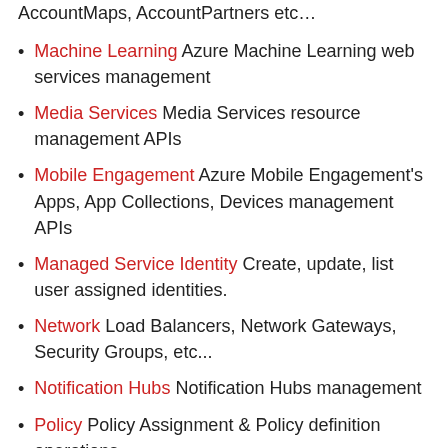AccountMaps, AccountPartners etc…
Machine Learning Azure Machine Learning web services management
Media Services Media Services resource management APIs
Mobile Engagement Azure Mobile Engagement's Apps, App Collections, Devices management APIs
Managed Service Identity Create, update, list user assigned identities.
Network Load Balancers, Network Gateways, Security Groups, etc...
Notification Hubs Notification Hubs management
Policy Policy Assignment & Policy definition operations
Power BI Embedded Azure Power BI Embedded Workspace & WorkspaceCollection management
Redis Redis resource management
Resources Resources Group, Resources Provider...